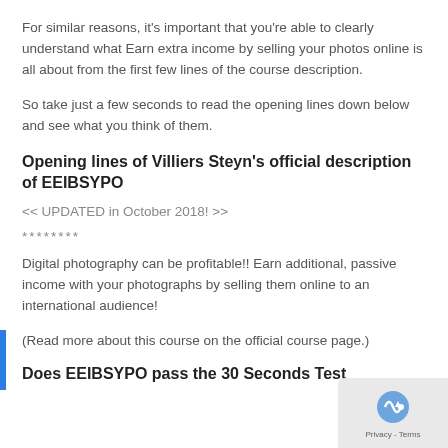For similar reasons, it's important that you're able to clearly understand what Earn extra income by selling your photos online is all about from the first few lines of the course description.
So take just a few seconds to read the opening lines down below and see what you think of them.
Opening lines of Villiers Steyn's official description of EEIBSYPO
<< UPDATED in October 2018! >>
********
Digital photography can be profitable!! Earn additional, passive income with your photographs by selling them online to an international audience!
(Read more about this course on the official course page.)
Does EEIBSYPO pass the 30 Seconds Test